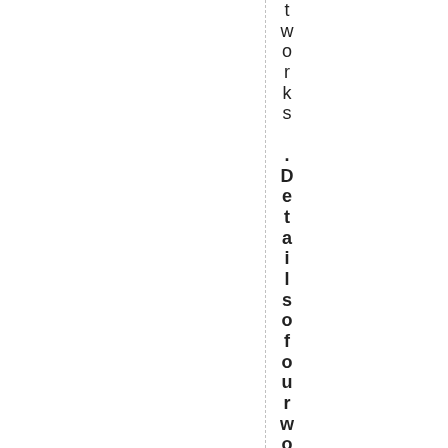tworks .Details of our working in the pr